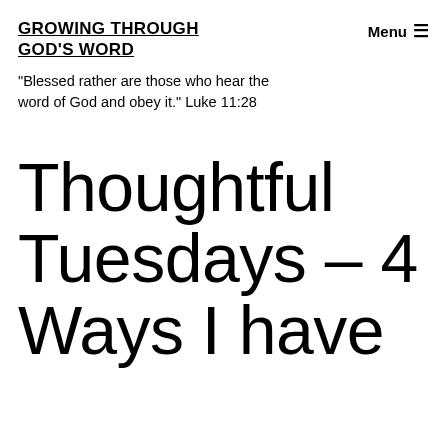GROWING THROUGH GOD'S WORD
Menu ☰
"Blessed rather are those who hear the word of God and obey it." Luke 11:28
Thoughtful Tuesdays – 4 Ways I have